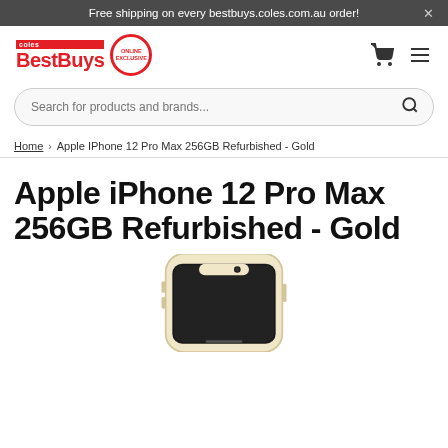Free shipping on every bestbuys.coles.com.au order!
[Figure (logo): Coles BestBuys logo with red text and Online Exclusive badge]
Search for products and brands...
Home > Apple IPhone 12 Pro Max 256GB Refurbished - Gold
Apple iPhone 12 Pro Max 256GB Refurbished - Gold
[Figure (photo): Apple iPhone 12 Pro Max in Gold color, partial view from bottom]